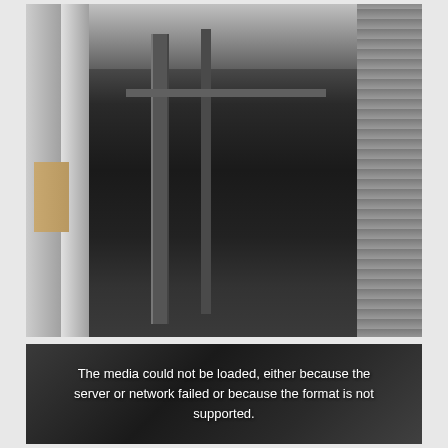[Figure (photo): Interior of an industrial or garage space showing vertical pipes, a concrete pillar on the left, corrugated metal shutter on the right, various equipment and containers on shelves, ceiling infrastructure visible at top.]
[Figure (photo): Partially visible second image showing a dark interior scene with an error overlay message stating the media could not be loaded.]
The media could not be loaded, either because the server or network failed or because the format is not supported.